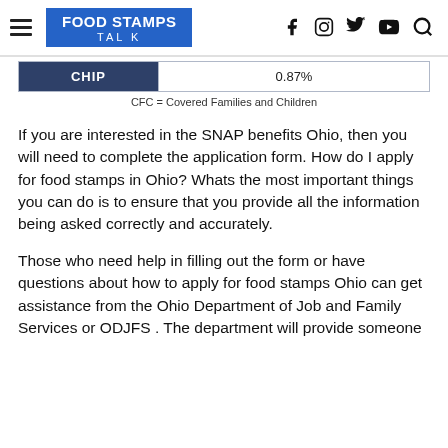FOOD STAMPS TALK
| CHIP | 0.87% |
| --- | --- |
CFC = Covered Families and Children
If you are interested in the SNAP benefits Ohio, then you will need to complete the application form. How do I apply for food stamps in Ohio? Whats the most important things you can do is to ensure that you provide all the information being asked correctly and accurately.
Those who need help in filling out the form or have questions about how to apply for food stamps Ohio can get assistance from the Ohio Department of Job and Family Services or ODJFS . The department will provide someone